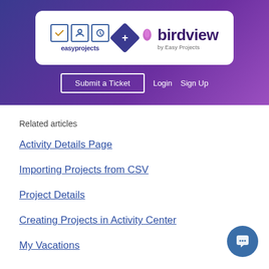[Figure (logo): EasyProjects and Birdview by Easy Projects logo side by side with a plus diamond connector, on white rounded rectangle background inside purple/blue gradient header banner]
[Figure (screenshot): Navigation bar with 'Submit a Ticket' button outline, 'Login' and 'Sign Up' links in white text on purple gradient background]
Related articles
Activity Details Page
Importing Projects from CSV
Project Details
Creating Projects in Activity Center
My Vacations